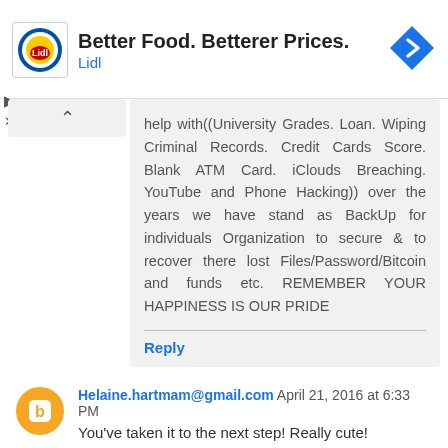[Figure (other): Lidl advertisement banner with Lidl logo, text 'Better Food. Betterer Prices.' and 'Lidl', plus a blue navigation arrow icon on the right]
help with((University Grades. Loan. Wiping Criminal Records. Credit Cards Score. Blank ATM Card. iClouds Breaching. YouTube and Phone Hacking)) over the years we have stand as BackUp for individuals Organization to secure & to recover there lost Files/Password/Bitcoin and funds etc. REMEMBER YOUR HAPPINESS IS OUR PRIDE
Reply
Helaine.hartmam@gmail.com  April 21, 2016 at 6:33 PM
You've taken it to the next step! Really cute!
Reply